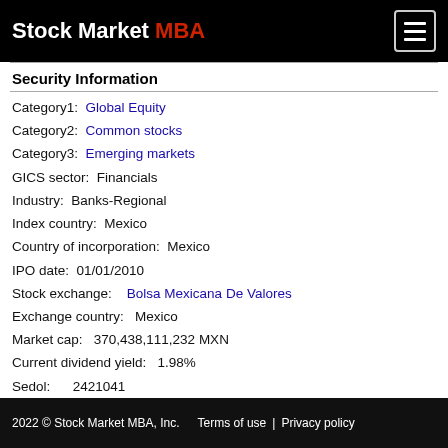Stock Market MBA
Security Information
Category1:  Global Equity
Category2:  Common stocks
Category3:  Emerging markets
GICS sector:  Financials
Industry:  Banks-Regional
Index country:  Mexico
Country of incorporation:  Mexico
IPO date:  01/01/2010
Stock exchange:    Bolsa Mexicana De Valores
Exchange country:   Mexico
Market cap:   370,438,111,232 MXN
Current dividend yield:   1.98%
Sedol:      2421041
2022 © Stock Market MBA, Inc.   Terms of use | Privacy policy